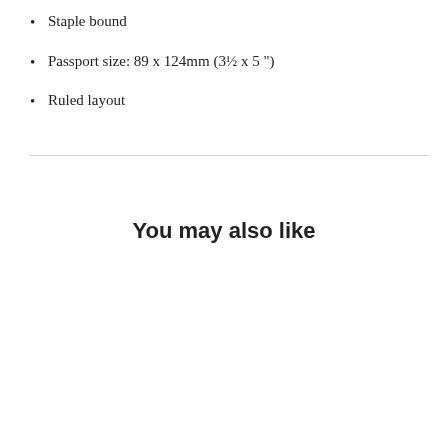Staple bound
Passport size: 89 x 124mm (3½ x 5 ")
Ruled layout
You may also like